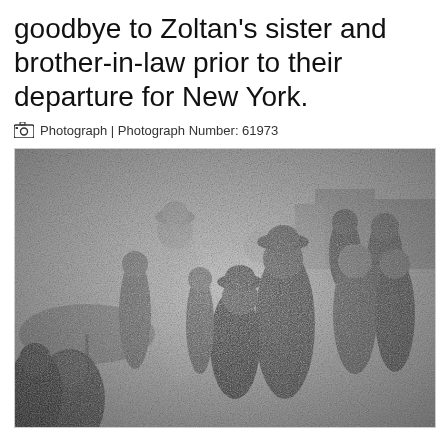goodbye to Zoltan's sister and brother-in-law prior to their departure for New York.
Photograph | Photograph Number: 61973
[Figure (photo): Black and white photograph showing a crowd of people, including men in suits and hats and women in coats, gathered together, likely at a departure scene. A person with an umbrella is visible in the foreground left.]